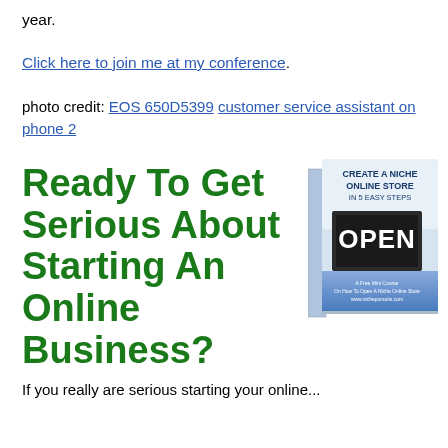year.
Click here to join me at my conference.
photo credit: EOS 650D5399 customer service assistant on phone 2
Ready To Get Serious About Starting An Online Business?
[Figure (photo): Book cover: Create A Niche Online Store In 5 Easy Steps, showing an OPEN sign]
If you really are serious starting your online...